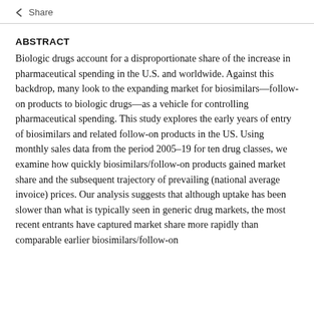< Share
ABSTRACT
Biologic drugs account for a disproportionate share of the increase in pharmaceutical spending in the U.S. and worldwide. Against this backdrop, many look to the expanding market for biosimilars—follow-on products to biologic drugs—as a vehicle for controlling pharmaceutical spending. This study explores the early years of entry of biosimilars and related follow-on products in the US. Using monthly sales data from the period 2005–19 for ten drug classes, we examine how quickly biosimilars/follow-on products gained market share and the subsequent trajectory of prevailing (national average invoice) prices. Our analysis suggests that although uptake has been slower than what is typically seen in generic drug markets, the most recent entrants have captured market share more rapidly than comparable earlier biosimilars/follow-on